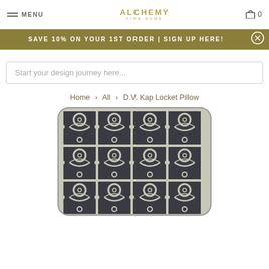MENU | ALCHEMY FINE HOME | Cart 0
SAVE 10% ON YOUR 1ST ORDER | SIGN UP HERE!
Start your design journey here...
Home > All > D.V. Kap Locket Pillow
[Figure (photo): D.V. Kap Locket Pillow - a decorative pillow with a dark grey/charcoal and silver geometric locket pattern on a light grey background.]